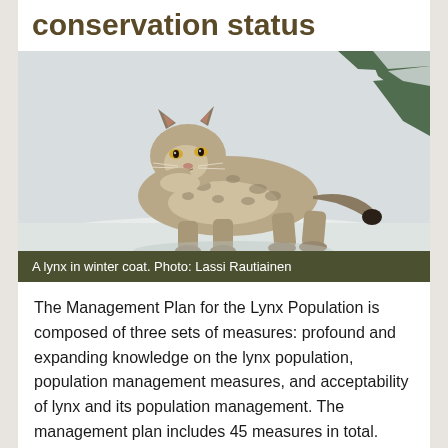conservation status
[Figure (photo): A lynx standing in snow in winter coat, photographed by Lassi Rautiainen. The lynx is facing slightly left with snowy pine branches visible in the background.]
A lynx in winter coat. Photo: Lassi Rautiainen
The Management Plan for the Lynx Population is composed of three sets of measures: profound and expanding knowledge on the lynx population, population management measures, and acceptability of lynx and its population management. The management plan includes 45 measures in total.